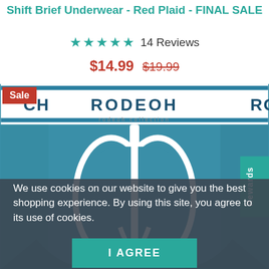Shift Brief Underwear - Red Plaid - FINAL SALE
★★★★★ 14 Reviews
$14.99 $19.99
[Figure (photo): RODEOH branded blue boxer briefs underwear on model, showing white waistband with RODEOH branding repeated, and white contrast stitching detail at front.]
Sale
Rewards
We use cookies on our website to give you the best shopping experience. By using this site, you agree to its use of cookies.
I AGREE